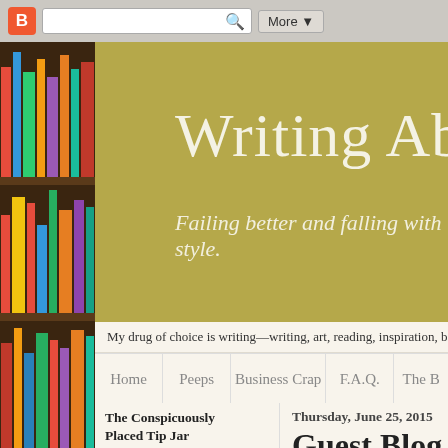[Figure (screenshot): Blogger top browser bar with search field and More button]
[Figure (photo): Bookshelf with colorful book spines on the left sidebar]
Writing About Writ
Failing better and falling with style.
My drug of choice is writing—writing, art, reading, inspiration, b
Home | Peeps | Business Crap | F.A.Q. | The B
The Conspicuously Placed Tip Jar
We are 100% donation funded (and trying to stay ad free), so even the smallest amount of
Thursday, June 25, 2015
Guest Blog for Wr
Claire Youmans is taking som dives into her next project, b